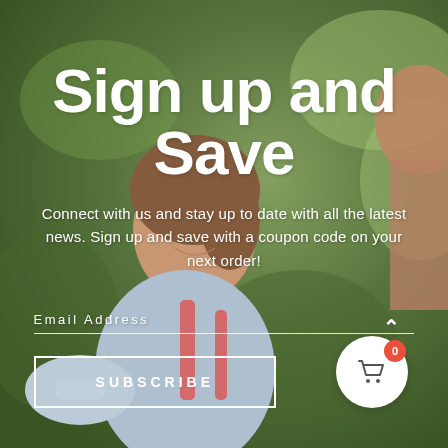[Figure (photo): Background photo of a smiling woman in athletic wear with greenery behind her and a person partially visible on the right.]
Sign up and Save
Connect with us and stay up to date with all the latest news. Sign up and save with a coupon code on your next order!
Email Address
SUBSCRIBE